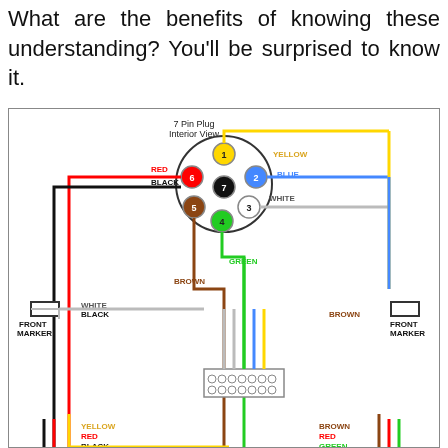What are the benefits of knowing these understanding? You'll be surprised to know it.
[Figure (schematic): 7 Pin Plug trailer wiring diagram showing interior view of 7-pin connector with colored pins (1-yellow, 2-blue, 3-white, 4-green, 5-brown, 6-red, 7-black) and corresponding colored wires running to front markers and a connector block at the bottom. Labels: RED, BLACK, YELLOW, BLUE, WHITE, GREEN, BROWN, FRONT MARKER (left and right).]